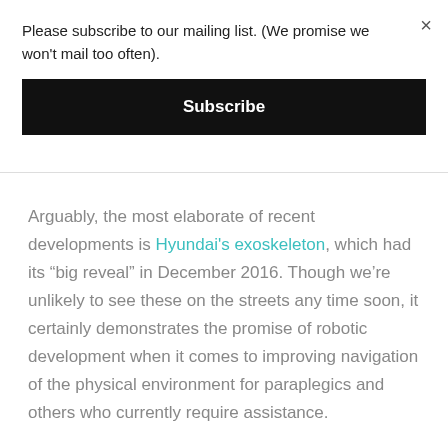Please subscribe to our mailing list. (We promise we won't mail too often).
Subscribe
Arguably, the most elaborate of recent developments is Hyundai's exoskeleton, which had its “big reveal” in December 2016. Though we’re unlikely to see these on the streets any time soon, it certainly demonstrates the promise of robotic development when it comes to improving navigation of the physical environment for paraplegics and others who currently require assistance.